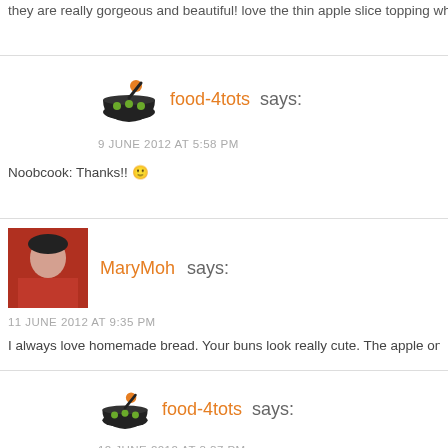they are really gorgeous and beautiful! love the thin apple slice topping which
food-4tots says:
9 JUNE 2012 AT 5:58 PM
Noobcook: Thanks!! 🙂
MaryMoh says:
11 JUNE 2012 AT 9:35 PM
I always love homemade bread. Your buns look really cute. The apple on top
food-4tots says:
12 JUNE 2012 AT 3:37 PM